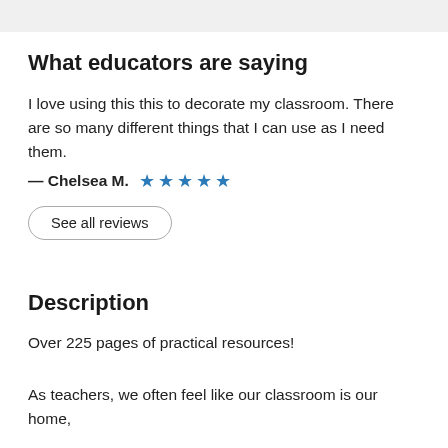What educators are saying
I love using this this to decorate my classroom. There are so many different things that I can use as I need them.
— Chelsea M. ★★★★★
See all reviews
Description
Over 225 pages of practical resources!
As teachers, we often feel like our classroom is our home,